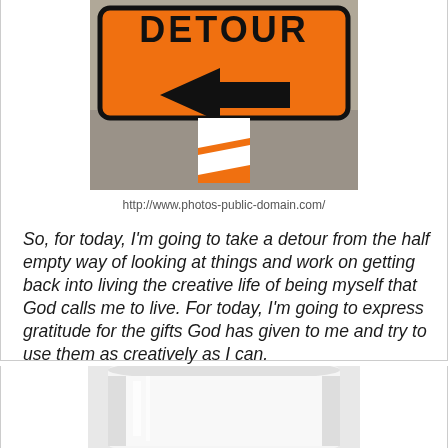[Figure (photo): Photo of an orange DETOUR road sign with a black left-pointing arrow, mounted on an orange and white striped barricade]
http://www.photos-public-domain.com/
So, for today, I'm going to take a detour from the half empty way of looking at things and work on getting back into living the creative life of being myself that God calls me to live. For today, I'm going to express gratitude for the gifts God has given to me and try to use them as creatively as I can.
[Figure (photo): Partial photo of a white glass or cup, cropped at top/sides]